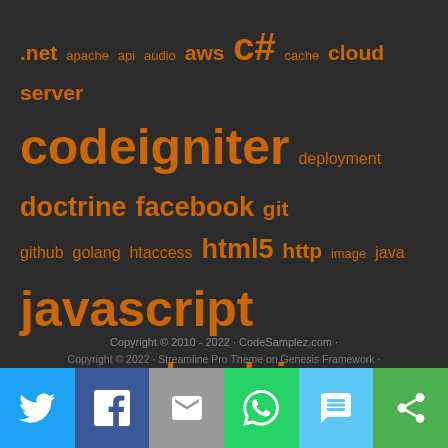[Figure (infographic): Tag cloud with technology keywords in orange on dark background. Larger text indicates more popular tags. Tags include: .net, apache, api, audio, aws, c#, cache, cloud server, codeigniter, deployment, doctrine, facebook, git, github, golang, htaccess, html5, http, image, java, javascript, linq, mysql, nodejs, oop, performance, php, phpmyadmin, plugin, process, python, regular expression, scalability, server, smarty, ssh, tfs, thread, tips, ubuntu, unit-test, utility, web application, wordpress, wpf]
Copyright © 2010 - 2022 · CodeSamplez.com · Copyright © 2022 · Streamline Pro Theme on Genesis Framework ·